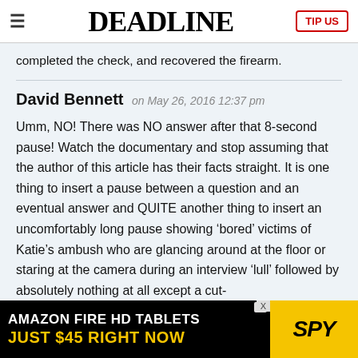≡  DEADLINE  TIP US
completed the check, and recovered the firearm.
David Bennett on May 26, 2016 12:37 pm
Umm, NO! There was NO answer after that 8-second pause! Watch the documentary and stop assuming that the author of this article has their facts straight. It is one thing to insert a pause between a question and an eventual answer and QUITE another thing to insert an uncomfortably long pause showing ‘bored’ victims of Katie’s ambush who are glancing around at the floor or staring at the camera during an interview ‘lull’ followed by absolutely nothing at all except a cut-
[Figure (screenshot): Amazon Fire HD Tablets advertisement banner: black background with white text 'AMAZON FIRE HD TABLETS' and yellow text 'JUST $45 RIGHT NOW', with SPY logo on yellow background on the right side.]